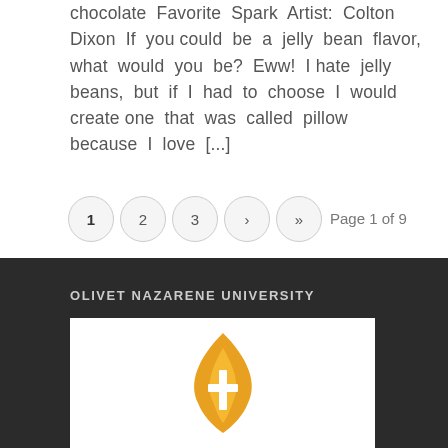chocolate Favorite Spark Artist: Colton Dixon If you could be a jelly bean flavor, what would you be? Eww! I hate jelly beans, but if I had to choose I would create one that was called pillow because I love [...]
1 2 3 › »   Page 1 of 9
OLIVET NAZARENE UNIVERSITY
[Figure (logo): Olivet Nazarene University flame and cross logo in gold/orange on white background]